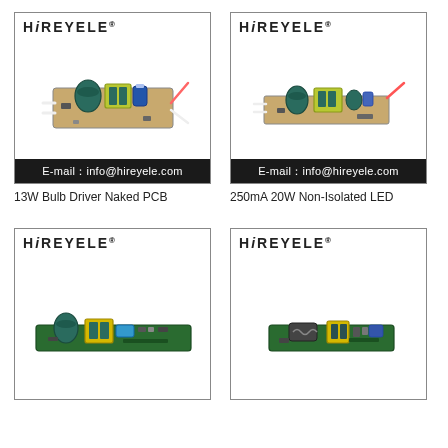[Figure (photo): 13W Bulb Driver Naked PCB LED driver circuit board with capacitors, transformer and wires, HREYELE branded product photo with email bar]
13W Bulb Driver Naked PCB
[Figure (photo): 250mA 20W Non-Isolated LED driver circuit board with components, HREYELE branded product photo with email bar]
250mA 20W Non-Isolated LED
[Figure (photo): LED driver PCB board with yellow transformer, capacitors, HREYELE branded product photo]
[Figure (photo): LED driver PCB board with yellow transformer and inductor, HREYELE branded product photo]